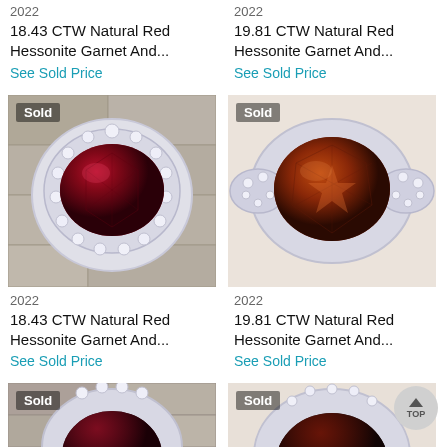2022
18.43 CTW Natural Red Hessonite Garnet And...
See Sold Price
2022
19.81 CTW Natural Red Hessonite Garnet And...
See Sold Price
[Figure (photo): Sold silver ring with large deep red oval hessonite garnet surrounded by small diamonds, on stone background. Sold badge in top-left corner.]
[Figure (photo): Sold silver ring with large brownish-red oval hessonite garnet with diamond side clusters. Sold badge in top-left corner.]
2022
18.43 CTW Natural Red Hessonite Garnet And...
See Sold Price
2022
19.81 CTW Natural Red Hessonite Garnet And...
See Sold Price
[Figure (photo): Partial view of sold ring with dark red garnet, diamond halo, on stone background. Sold badge visible.]
[Figure (photo): Partial view of sold ring with dark red/brown garnet and diamond accents. Sold badge visible.]